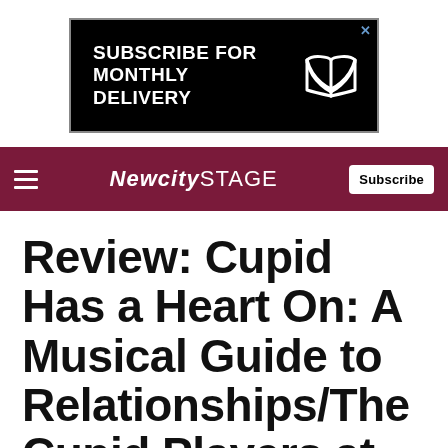[Figure (other): Advertisement banner: black background with white bold text 'SUBSCRIBE FOR MONTHLY DELIVERY' and a book icon on the right. Blue X close button at top right corner.]
NEWCITYSTAGE  Subscribe
Review: Cupid Has a Heart On: A Musical Guide to Relationships/The Cupid Players at